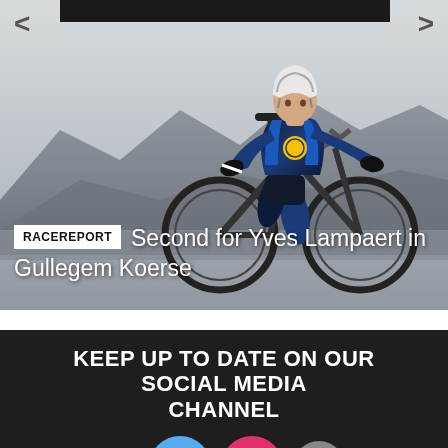[Figure (photo): Cyclist in black and blue team jersey and helmet riding a road bike, with mountains in the background. Navigation arrows on left and right sides. Dark bar at top center.]
RACEREPORT  Second for Yves Lampaert in Gullegem Koerse
KEEP UP TO DATE ON OUR SOCIAL MEDIA CHANNEL
[Figure (infographic): Social media icons: Facebook (dark/grey), Twitter (light blue circle), Instagram (red circle), YouTube (grey)]